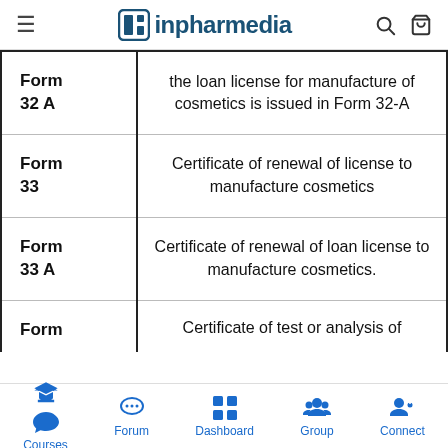inpharmedia
| Form | Description |
| --- | --- |
| Form 32 A | the loan license for manufacture of cosmetics is issued in Form 32-A |
| Form 33 | Certificate of renewal of license to manufacture cosmetics |
| Form 33 A | Certificate of renewal of loan license to manufacture cosmetics. |
| Form | Certificate of test or analysis of |
Courses  Forum  Dashboard  Group  Connect